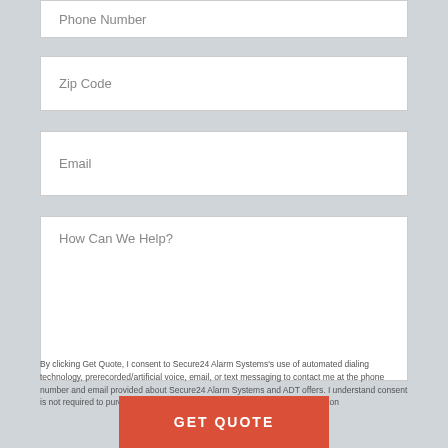Phone Number
Zip Code
Email
How Can We Help?
By clicking Get Quote, I consent to Secure24 Alarm Systems's use of automated dialing technology, prerecorded/artificial voice, email, or text messaging to contact me at the phone number and email provided about Secure24 Alarm Systems and ADT offers. I understand consent is not required to purchase. CA Residents: Do Not Sell My Personal Information
GET QUOTE